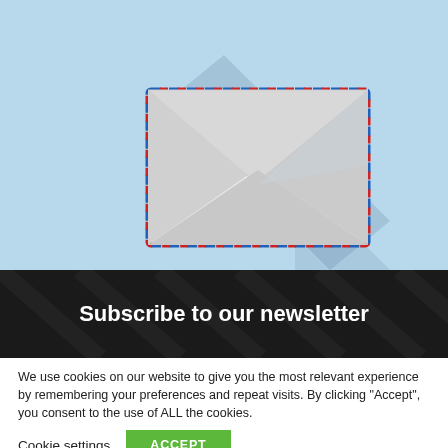[Figure (illustration): Flat design illustration of an airmail envelope with blue and red dashed border on a light blue background with a long drop shadow.]
Subscribe to our newsletter
We use cookies on our website to give you the most relevant experience by remembering your preferences and repeat visits. By clicking “Accept”, you consent to the use of ALL the cookies.
Cookie settings  ACCEPT